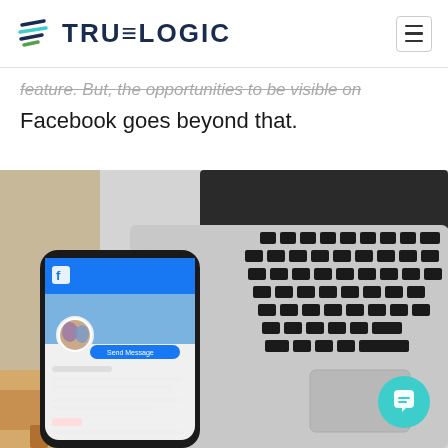TRUELOGIC
feature. But, the opportunities to be visible on Facebook goes beyond that.
[Figure (photo): A smartphone showing a Facebook profile page placed next to an open laptop keyboard, both on a wooden surface. The phone displays a Facebook page with a blue header and profile image.]
[Figure (other): Teal chat bubble button in bottom-right corner]